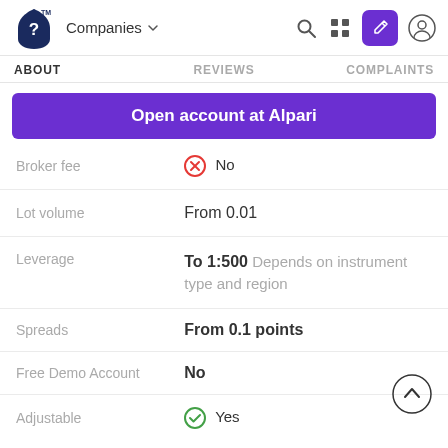Companies — navigation bar with logo, search, grid, edit, and user icons
ABOUT   REVIEWS   COMPLAINTS
Open account at Alpari
| Field | Value |
| --- | --- |
| Broker fee | No |
| Lot volume | From 0.01 |
| Leverage | To 1:500 Depends on instrument type and region |
| Spreads | From 0.1 points |
| Free Demo Account | No |
| Adjustable | Yes |